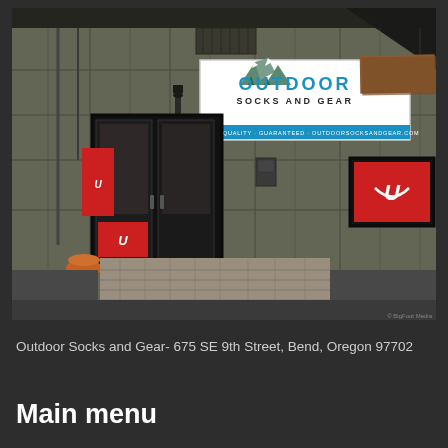[Figure (photo): Exterior photograph of Outdoor Socks and Gear store at 675 SE 9th Street, Bend, Oregon. Building has olive/khaki colored panel siding. A white sign reads 'OUTDOOR SOCKS AND GEAR' with mountain graphics. Double glass doors with Under Armour branding and a red flag/banner visible. A window display on the right also shows Under Armour logo. Brick paver walkway in front, gravel parking lot.]
Outdoor Socks and Gear- 675 SE 9th Street, Bend, Oregon 97702
Main menu